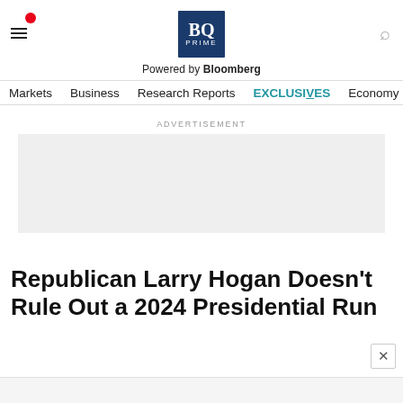BQ PRIME – Powered by Bloomberg
Markets   Business   Research Reports   EXCLUSIVES   Economy
ADVERTISEMENT
[Figure (other): Advertisement placeholder (grey rectangle)]
Republican Larry Hogan Doesn't Rule Out a 2024 Presidential Run